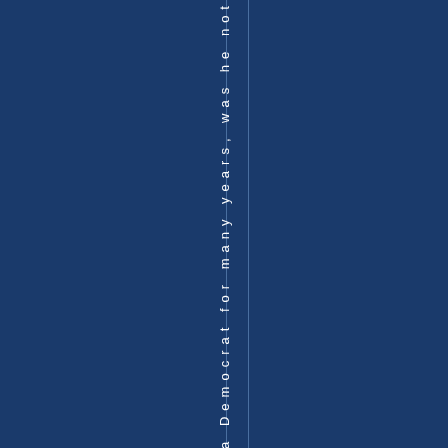, a Democrat for many years, was he not